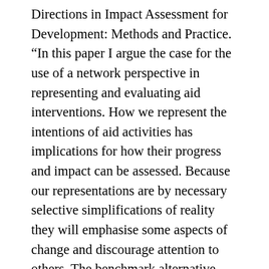Directions in Impact Assessment for Development: Methods and Practice. “In this paper I argue the case for the use of a network perspective in representing and evaluating aid interventions. How we represent the intentions of aid activities has implications for how their progress and impact can be assessed. Because our representations are by necessary selective simplifications of reality they will emphasise some aspects of change and discourage attention to others. The benchmark alternative here is by default the Logical Framework, the single most commonly used device for representing what an aid project or programme is trying to do. Five main